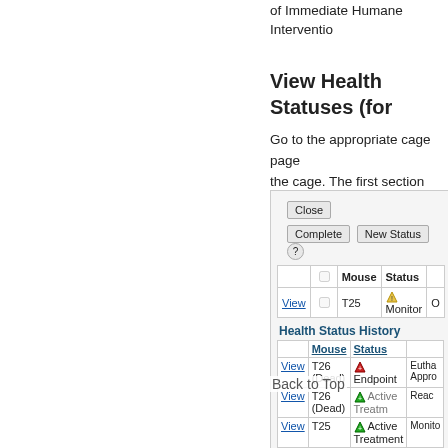of Immediate Humane Interventio
View Health Statuses (for
Go to the appropriate cage page the cage. The first section shows / litter can only have one active h completed health statuses. Both
[Figure (screenshot): Screenshot of a cage health status interface showing: Close button, Complete and New Status buttons, a table with columns Mouse and Status showing T25 with Monitor status (yellow triangle), a Health Status History section with a table showing Mouse and Status columns, rows for T26 (Dead) with Endpoint status (red triangle) and Eutha Appro, T26 (Dead) with Active Treatment (green triangle) and Reach, T25 with Active Treatment (green triangle) and Monito]
Back to Top